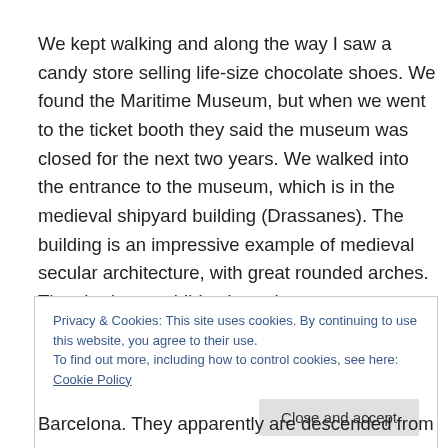We kept walking and along the way I saw a candy store selling life-size chocolate shoes. We found the Maritime Museum, but when we went to the ticket booth they said the museum was closed for the next two years. We walked into the entrance to the museum, which is in the medieval shipyard building (Drassanes). The building is an impressive example of medieval secular architecture, with great rounded arches. They had two exhibits there, but
Privacy & Cookies: This site uses cookies. By continuing to use this website, you agree to their use.
To find out more, including how to control cookies, see here: Cookie Policy
Barcelona. They apparently are descended from some